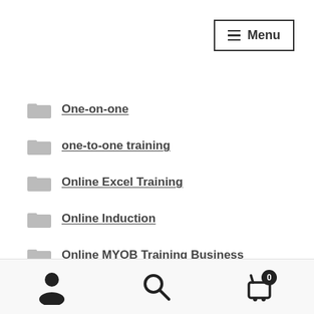≡ Menu
One-on-one
one-to-one training
Online Excel Training
Online Induction
Online MYOB Training Business
Online PowerPoint Training Course
Organise Meetings
Part time Accounts Jobs
Payroll Administration
User icon | Search icon | Cart (0)